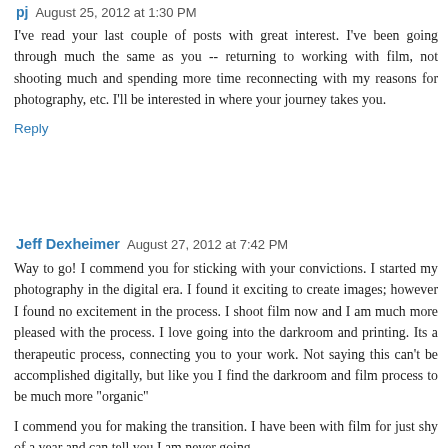pj  August 25, 2012 at 1:30 PM
I've read your last couple of posts with great interest. I've been going through much the same as you -- returning to working with film, not shooting much and spending more time reconnecting with my reasons for photography, etc. I'll be interested in where your journey takes you.
Reply
Jeff Dexheimer  August 27, 2012 at 7:42 PM
Way to go! I commend you for sticking with your convictions. I started my photography in the digital era. I found it exciting to create images; however I found no excitement in the process. I shoot film now and I am much more pleased with the process. I love going into the darkroom and printing. Its a therapeutic process, connecting you to your work. Not saying this can't be accomplished digitally, but like you I find the darkroom and film process to be much more "organic"
I commend you for making the transition. I have been with film for just shy of a year and can tell you I am never going